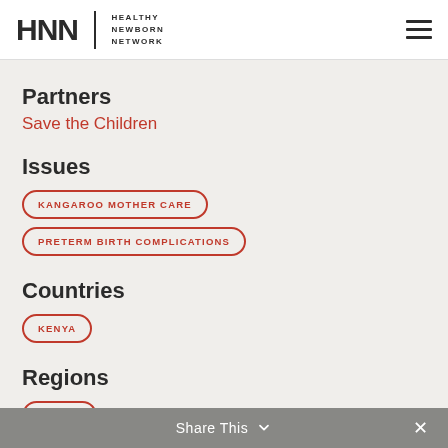HNN | HEALTHY NEWBORN NETWORK
Partners
Save the Children
Issues
KANGAROO MOTHER CARE
PRETERM BIRTH COMPLICATIONS
Countries
KENYA
Regions
AFRICA
Share This